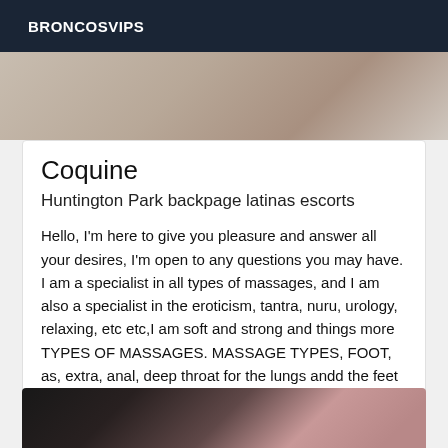BRONCOSVIPS
[Figure (photo): Partial photo of a person, cropped at top]
Coquine
Huntington Park backpage latinas escorts
Hello, I'm here to give you pleasure and answer all your desires, I'm open to any questions you may have. I am a specialist in all types of massages, and I am also a specialist in the eroticism, tantra, nuru, urology, relaxing, etc etc,I am soft and strong and things more TYPES OF MASSAGES. MASSAGE TYPES, FOOT, as, extra, anal, deep throat for the lungs andd the feet prices, golden shower, russian straw, 69, different positions, all in a private atmosphere, I received in my apartment
[Figure (photo): Photo of a woman with dark hair wearing a floral bikini top and dark lace top]